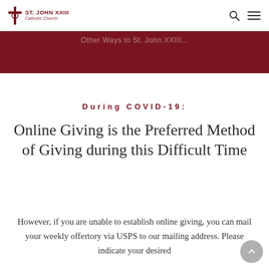St. John XXIII Catholic Church
[Figure (other): Dark red/maroon hero banner background]
During COVID-19:
Online Giving is the Preferred Method of Giving during this Difficult Time
However, if you are unable to establish online giving, you can mail your weekly offertory via USPS to our mailing address. Please indicate your desired